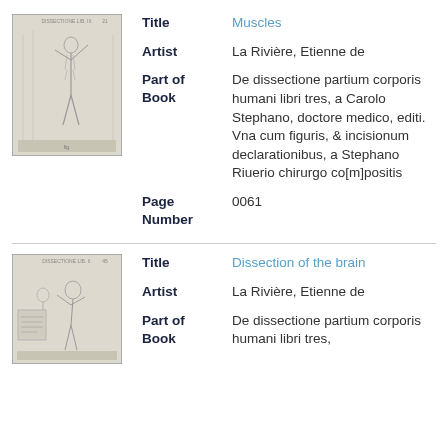[Figure (illustration): Anatomical illustration of a human figure showing muscles, from a historical medical text. The figure stands with one arm raised.]
Title: Muscles
Artist: La Rivière, Etienne de
Part of Book: De dissectione partium corporis humani libri tres, a Carolo Stephano, doctore medico, editi. Vna cum figuris, & incisionum declarationibus, a Stephano Riuerio chirurgo co[m]positis
Page Number: 0061
[Figure (illustration): Anatomical illustration showing a dissection of the brain scene with figures, from a historical medical text.]
Title: Dissection of the brain
Artist: La Rivière, Etienne de
Part of Book: De dissectione partium corporis humani libri tres,